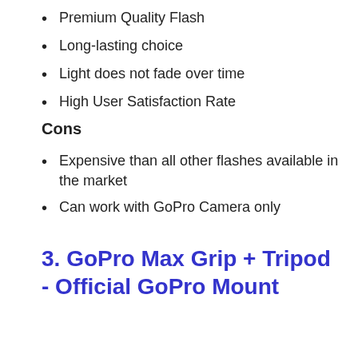Premium Quality Flash
Long-lasting choice
Light does not fade over time
High User Satisfaction Rate
Cons
Expensive than all other flashes available in the market
Can work with GoPro Camera only
3. GoPro Max Grip + Tripod - Official GoPro Mount